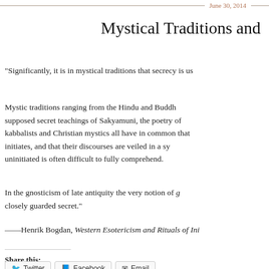June 30, 2014
Mystical Traditions and …
“Significantly, it is in mystical traditions that secrecy is us…
Mystic traditions ranging from the Hindu and Buddh… supposed secret teachings of Sakyamuni, the poetry of… kabbalists and Christian mystics all have in common that… initiates, and that their discourses are veiled in a sy… uninitiated is often difficult to fully comprehend.
In the gnosticism of late antiquity the very notion of g… closely guarded secret.”
——Henrik Bogdan, Western Esotericism and Rituals of Ini…
Share this:
Twitter  Facebook  Email